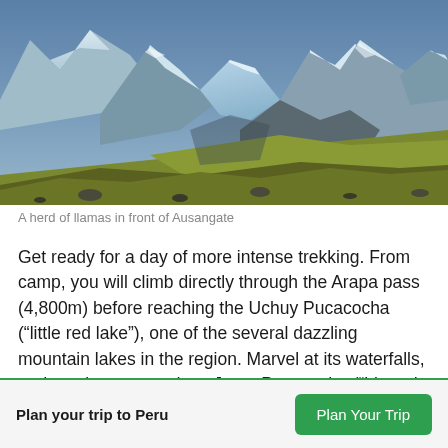[Figure (photo): Panoramic mountain landscape showing snow-capped peaks of Ausangate with green-brown high-altitude grasslands in the foreground and rocky terrain, taken at dusk or dawn with blue-tinted glaciers visible between the peaks.]
A herd of llamas in front of Ausangate
Get ready for a day of more intense trekking. From camp, you will climb directly through the Arapa pass (4,800m) before reaching the Uchuy Pucacocha (“little red lake”), one of the several dazzling mountain lakes in the region. Marvel at its waterfalls, and continue onwards to Jatun Pucacocha (“big red lake”), where you will camp along its shores.
Plan your trip to Peru
Plan Your Trip